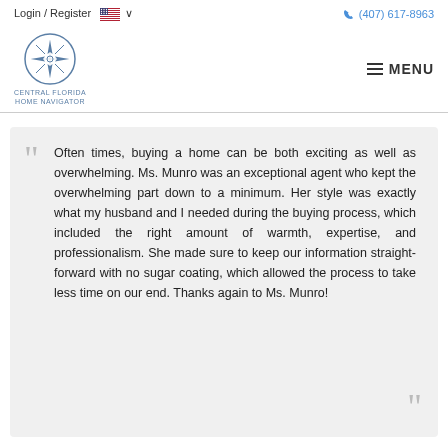Login / Register   (407) 617-8963
[Figure (logo): Central Florida Home Navigator compass logo with circular border and star/compass icon in blue outline. Text below reads CENTRAL FLORIDA HOME NAVIGATOR.]
Often times, buying a home can be both exciting as well as overwhelming. Ms. Munro was an exceptional agent who kept the overwhelming part down to a minimum. Her style was exactly what my husband and I needed during the buying process, which included the right amount of warmth, expertise, and professionalism. She made sure to keep our information straight-forward with no sugar coating, which allowed the process to take less time on our end. Thanks again to Ms. Munro!